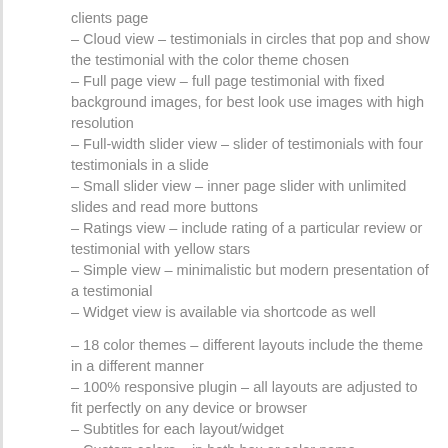clients page
– Cloud view – testimonials in circles that pop and show the testimonial with the color theme chosen
– Full page view – full page testimonial with fixed background images, for best look use images with high resolution
– Full-width slider view – slider of testimonials with four testimonials in a slide
– Small slider view – inner page slider with unlimited slides and read more buttons
– Ratings view – include rating of a particular review or testimonial with yellow stars
– Simple view – minimalistic but modern presentation of a testimonial
– Widget view is available via shortcode as well
– 18 color themes – different layouts include the theme in a different manner
– 100% responsive plugin – all layouts are adjusted to fit perfectly on any device or browser
– Subtitles for each layout/widget
– Custom colors – in both hex or color name
– Submission form – you can see it in action here.
– Ratings...